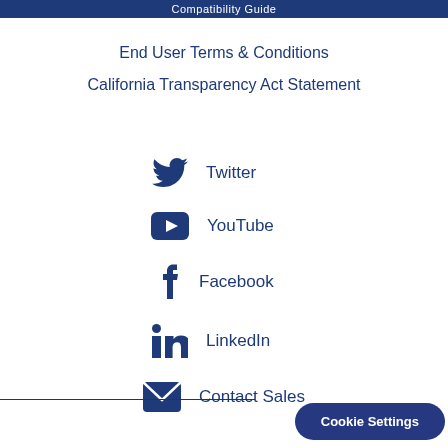Compatibility Guide
End User Terms & Conditions
California Transparency Act Statement
Twitter
YouTube
Facebook
LinkedIn
Contact Sales
Cookie Settings